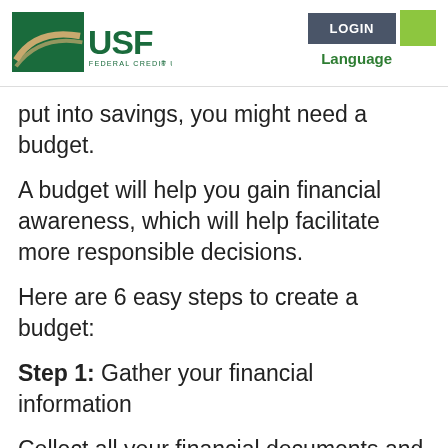[Figure (logo): USF Federal Credit Union logo with green background and tan swoosh]
put into savings, you might need a budget.
A budget will help you gain financial awareness, which will help facilitate more responsible decisions.
Here are 6 easy steps to create a budget:
Step 1: Gather your financial information
Collect all your financial documents and receipts for three consecutive months. This includes all account statements, bills, pay stubs, receipts and more.